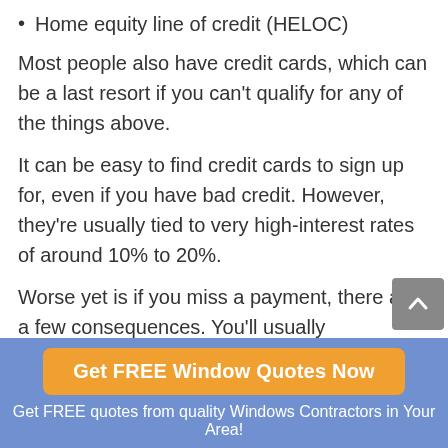Home equity line of credit (HELOC)
Most people also have credit cards, which can be a last resort if you can’t qualify for any of the things above.
It can be easy to find credit cards to sign up for, even if you have bad credit. However, they’re usually tied to very high-interest rates of around 10% to 20%.
Worse yet is if you miss a payment, there are a few consequences. You’ll usually
Get FREE Window Quotes Now
Get FREE quotes from quality Windows Contractors in Your Area!